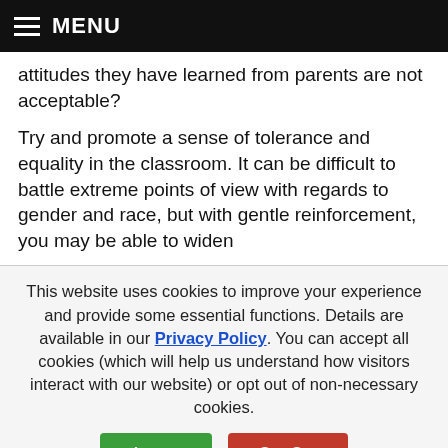MENU
attitudes they have learned from parents are not acceptable?
Try and promote a sense of tolerance and equality in the classroom. It can be difficult to battle extreme points of view with regards to gender and race, but with gentle reinforcement, you may be able to widen
This website uses cookies to improve your experience and provide some essential functions. Details are available in our Privacy Policy. You can accept all cookies (which will help us understand how visitors interact with our website) or opt out of non-necessary cookies.
Accept | Opt Out